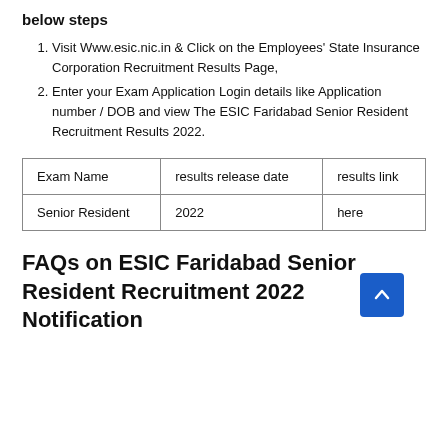below steps
Visit Www.esic.nic.in & Click on the Employees' State Insurance Corporation Recruitment Results Page,
Enter your Exam Application Login details like Application number / DOB and view The ESIC Faridabad Senior Resident Recruitment Results 2022.
| Exam Name | results release date | results link |
| --- | --- | --- |
| Senior Resident | 2022 | here |
FAQs on ESIC Faridabad Senior Resident Recruitment 2022 Notification